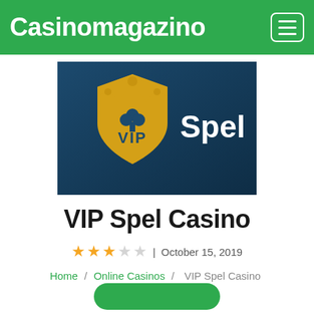Casinomagazino
[Figure (logo): VIP Spel Casino logo — gold VIP shield with crown and club symbol on dark teal background, with white text 'Spel' beside the shield]
VIP Spel Casino
★★★☆☆ | October 15, 2019
Home / Online Casinos / VIP Spel Casino